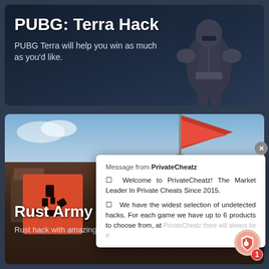[Figure (screenshot): Top card showing PUBG Terra Hack with armored figure on dark blue background]
PUBG: Terra Hack
PUBG Terra will help you win as much as you'd like.
[Figure (screenshot): Bottom card showing Rust Army Hack with red flag, orange logo, and battlefield scene]
Rust Army Hack
Rust hack with amazing features!
Message from PrivateCheatz
☐ Welcome to PrivateCheatz! The Market Leader In Private Cheats Since 2015.
☐ We have the widest selection of undetected hacks. For each game we have up to 6 products to choose from, at PrivateCheatz there will always be a